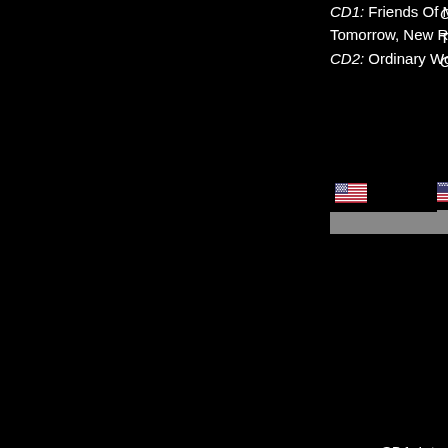CD1: Friends Of M... Tomorrow, New Rel... CD2: Ordinary World, Save...
[Figure (illustration): US flag icon]
Tab... CD1: Intro, Friends Of M... Tomorrow, New Relig... CD2: Notorious, Gi...
Metro... Planet Earth, Hungry... Something I Should Kr...